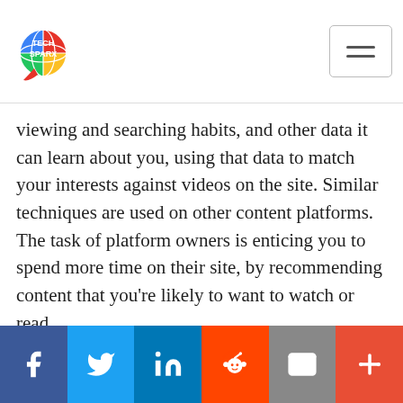[Figure (logo): TechSparx logo — colorful globe with TECH SPARX text]
[Figure (other): Hamburger menu button (three horizontal lines)]
viewing and searching habits, and other data it can learn about you, using that data to match your interests against videos on the site. Similar techniques are used on other content platforms. The task of platform owners is enticing you to spend more time on their site, by recommending content that you're likely to want to watch or read.
[Figure (infographic): Social sharing bar with Facebook, Twitter, LinkedIn, Reddit, Email, and More buttons]